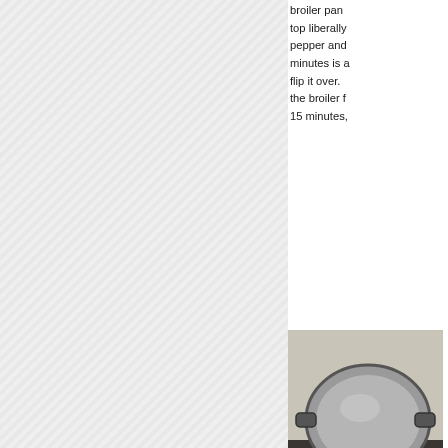broiler pan top liberally pepper and minutes is a flip it over. the broiler f 15 minutes,
[Figure (photo): A metal pan or skillet viewed from above on a stovetop]
[Figure (photo): A cast iron skillet with food cooking on a stovetop]
the skillet, s sprinkling w sprinkling o thorough sti cover skillet
[Figure (photo): A dark loaf of bread or baked item viewed from above]